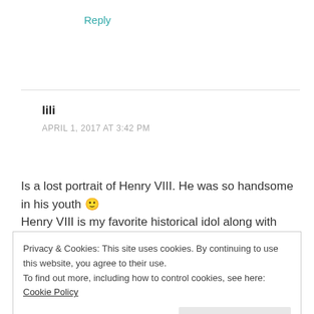Reply
lili
APRIL 1, 2017 AT 3:42 PM
Is a lost portrait of Henry VIII. He was so handsome in his youth 🙂
Henry VIII is my favorite historical idol along with
Privacy & Cookies: This site uses cookies. By continuing to use this website, you agree to their use.
To find out more, including how to control cookies, see here: Cookie Policy
Close and accept